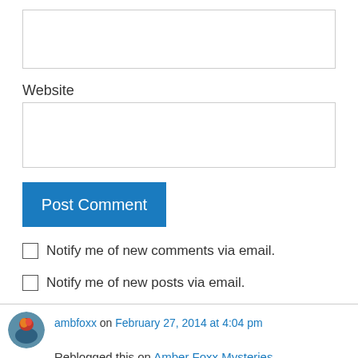Website
Post Comment
Notify me of new comments via email.
Notify me of new posts via email.
ambfoxx on February 27, 2014 at 4:04 pm
Reblogged this on Amber Foxx Mysteries.
Reply